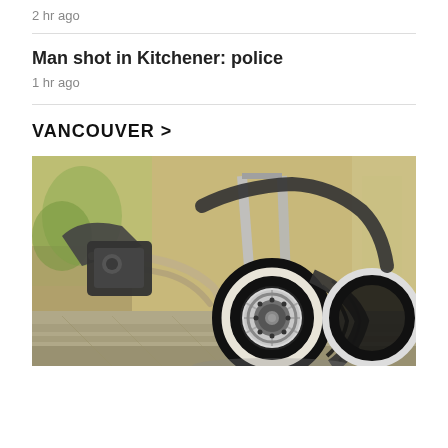2 hr ago
Man shot in Kitchener: police
1 hr ago
VANCOUVER >
[Figure (photo): Close-up photograph of a motorcycle front wheel, showing chrome fork suspension, disc brake rotor, and white-walled tire on a paved surface with blurred outdoor background]